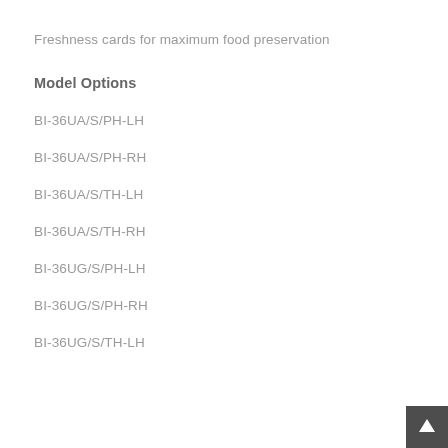Freshness cards for maximum food preservation
Model Options
BI-36UA/S/PH-LH
BI-36UA/S/PH-RH
BI-36UA/S/TH-LH
BI-36UA/S/TH-RH
BI-36UG/S/PH-LH
BI-36UG/S/PH-RH
BI-36UG/S/TH-LH